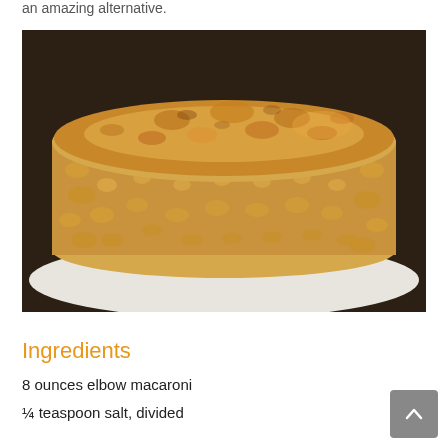an amazing alternative.
[Figure (photo): A round baked macaroni and cheese dish with a golden-brown crispy top, served on a white plate against a dark brown background.]
Ingredients
8 ounces elbow macaroni
¼ teaspoon salt, divided